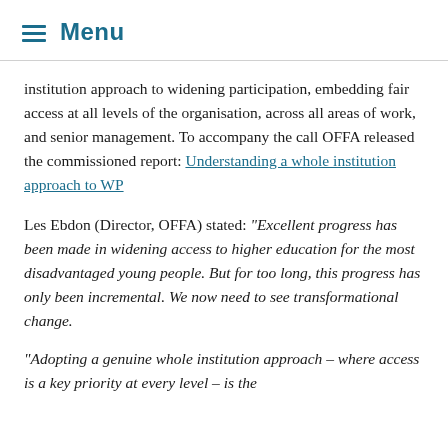Menu
institution approach to widening participation, embedding fair access at all levels of the organisation, across all areas of work, and senior management. To accompany the call OFFA released the commissioned report: Understanding a whole institution approach to WP
Les Ebdon (Director, OFFA) stated: “Excellent progress has been made in widening access to higher education for the most disadvantaged young people. But for too long, this progress has only been incremental. We now need to see transformational change.
“Adopting a genuine whole institution approach – where access is a key priority at every level – is the